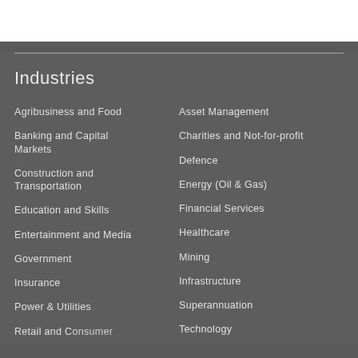Industries
Agribusiness and Food
Banking and Capital Markets
Construction and Transportation
Education and Skills
Entertainment and Media
Government
Insurance
Power & Utilities
Retail and Consumer
Asset Management
Charities and Not-for-profit
Defence
Energy (Oil & Gas)
Financial Services
Healthcare
Mining
Infrastructure
Superannuation
Technology